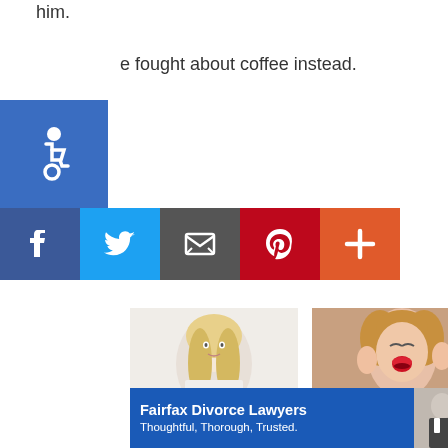him.
e fought about coffee instead.
[Figure (other): Accessibility wheelchair icon (blue square with wheelchair symbol)]
[Figure (other): Social sharing buttons: Facebook (blue), Twitter (light blue), Email/Share (dark gray), Pinterest (red), More/Plus (orange-red)]
[Figure (photo): Photo of a blonde woman (Gwyneth Paltrow) against white background]
Dear Gwyneth Paltrow, Will You Admire Chris if He Cheats on You?
[Figure (photo): Photo of a woman crying dramatically with red lipstick]
PSTD: Public Shedding of Tears and Drama
[Figure (photo): Photo of feet/toes in sand at a beach]
[Figure (other): Advertisement banner: Fairfax Divorce Lawyers - Thoughtful, Thorough, Trusted. with photo of two men in suits]